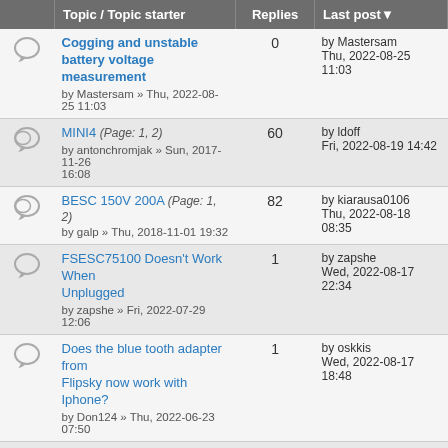|  | Topic / Topic starter | Replies | Last post |
| --- | --- | --- | --- |
| [icon] | Cogging and unstable battery voltage measurement
by Mastersam » Thu, 2022-08-25 11:03 | 0 | by Mastersam
Thu, 2022-08-25
11:03 |
| [icon] | MINI4 (Page: 1, 2)
by antonchromjak » Sun, 2017-11-26 16:08 | 60 | by ldoff
Fri, 2022-08-19 14:42 |
| [icon] | BESC 150V 200A (Page: 1, 2)
by galp » Thu, 2018-11-01 19:32 | 82 | by kiarausa0106
Thu, 2022-08-18
08:35 |
| [icon] | FSESC75100 Doesn't Work When Unplugged
by zapshe » Fri, 2022-07-29 12:06 | 1 | by zapshe
Wed, 2022-08-17
22:34 |
| [icon] | Does the blue tooth adapter from Flipsky now work with Iphone?
by Don124 » Thu, 2022-06-23 07:50 | 1 | by oskkis
Wed, 2022-08-17
18:48 |
| [icon] | 30kw 32s 135v Loaded: WiFi, BLE, iOS support, GPS/LTE Options (Page: 1, 2, 3)
by vadicus » Tue, 2019-12-03 20:29 | 110 | by zselgrath
Tue, 2022-08-16
05:41 |
| [icon] | Chinese board questions. I don't know where to start
by seanus4u@gmail.com » Mon, 2022- | 0 | by
seanus4u@gmail.com
Mon, 2022-08-15 |